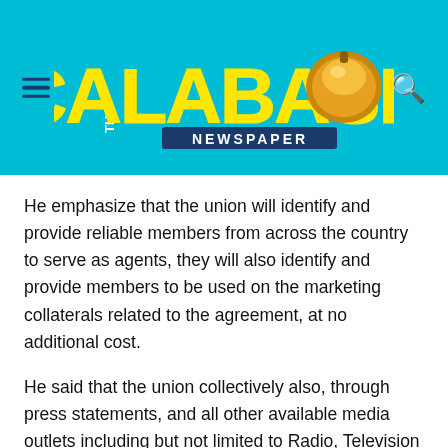[Figure (logo): The Calabash Newspaper logo on a cyan/turquoise background with hamburger menu icon on the left and search icon on the right]
He emphasize that the union will identify and provide reliable members from across the country to serve as agents, they will also identify and provide members to be used on the marketing collaterals related to the agreement, at no additional cost.
He said that the union collectively also, through press statements, and all other available media outlets including but not limited to Radio, Television and social media platforms, accord Africell endorsements for and advertisement of the Africell Money Service.
Africell's Life Insurance Products and Service Manager,